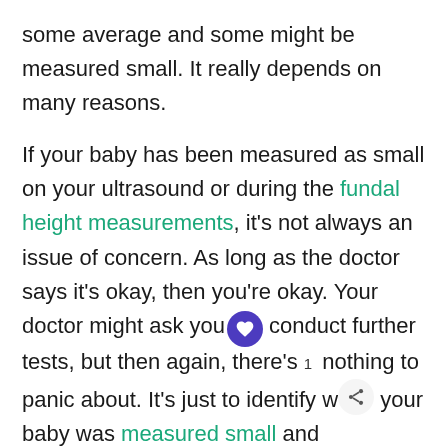some average and some might be measured small. It really depends on many reasons.
If your baby has been measured as small on your ultrasound or during the fundal height measurements, it's not always an issue of concern. As long as the doctor says it's okay, then you're okay. Your doctor might ask you conduct further tests, but then again, there's nothing to panic about. It's just to identify why your baby was measured small and treatments to provide for it.